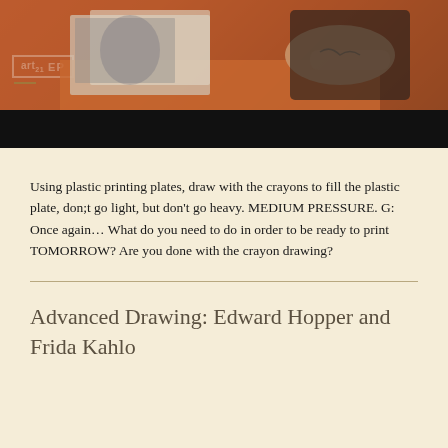[Figure (screenshot): Video thumbnail showing a person with tattooed arms drawing or working on a surface with printed images, with art21 EP branding overlay and a green underline accent. Bottom portion is black (video player bar).]
Using plastic printing plates, draw with the crayons to fill the plastic plate, don;t go light, but don't go heavy. MEDIUM PRESSURE. G: Once again... What do you need to do in order to be ready to print TOMORROW? Are you done with the crayon drawing?
Advanced Drawing: Edward Hopper and Frida Kahlo